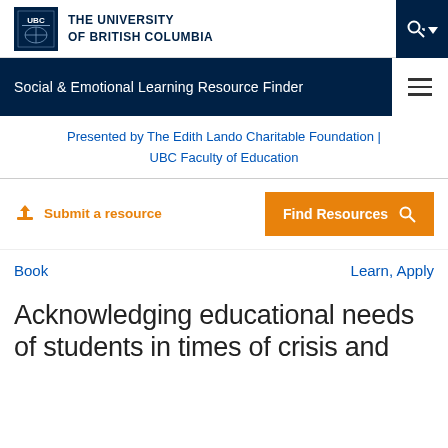THE UNIVERSITY OF BRITISH COLUMBIA
Social & Emotional Learning Resource Finder
Presented by The Edith Lando Charitable Foundation | UBC Faculty of Education
Submit a resource
Find Resources
Book
Learn, Apply
Acknowledging educational needs of students in times of crisis and